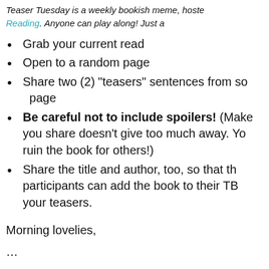Teaser Tuesday is a weekly bookish meme, hoste Reading. Anyone can play along! Just a
Grab your current read
Open to a random page
Share two (2) "teasers" sentences from so page
Be careful not to include spoilers! (Make you share doesn't give too much away. Yo ruin the book for others!)
Share the title and author, too, so that th participants can add the book to their TB your teasers.
Morning lovelies,
...